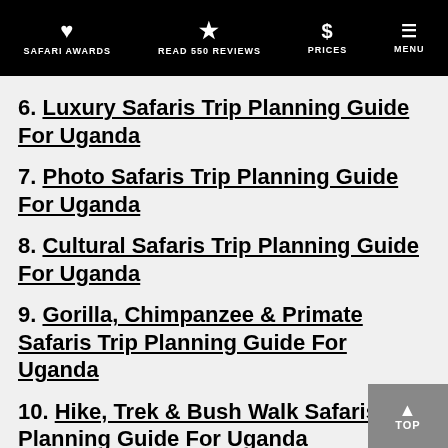SAFARI AWARDS | READ 550 REVIEWS | PRICES | MENU
6. Luxury Safaris Trip Planning Guide For Uganda
7. Photo Safaris Trip Planning Guide For Uganda
8. Cultural Safaris Trip Planning Guide For Uganda
9. Gorilla, Chimpanzee & Primate Safaris Trip Planning Guide For Uganda
10. Hike, Trek & Bush Walk Safaris Trip Planning Guide For Uganda
11. Birding Safaris Trip Planning Guide For Uganda